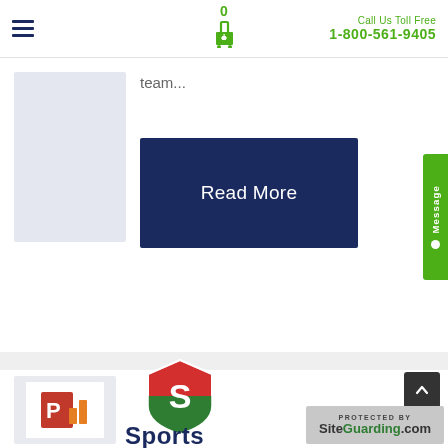Call Us Toll Free 1-800-561-9405
team...
Read More
[Figure (screenshot): Grey placeholder thumbnail image]
[Figure (screenshot): Message tab (green, rotated) on right side]
[Figure (logo): PowerPoint-style icon thumbnail at bottom left]
[Figure (logo): Sports logo with red and green shield containing letter S]
Sports
[Figure (logo): SiteGuarding.com protected badge]